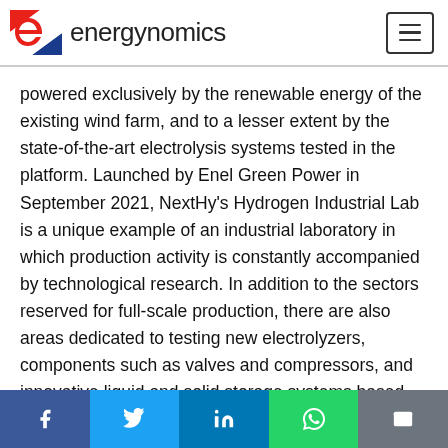energynomics
powered exclusively by the renewable energy of the existing wind farm, and to a lesser extent by the state-of-the-art electrolysis systems tested in the platform. Launched by Enel Green Power in September 2021, NextHy's Hydrogen Industrial Lab is a unique example of an industrial laboratory in which production activity is constantly accompanied by technological research. In addition to the sectors reserved for full-scale production, there are also areas dedicated to testing new electrolyzers, components such as valves and compressors, and innovative liquid and solid storage systems based on liquid and solid means of storage: in line with Enel's open-ended approach, this activity will be open to the collaboration of more than 25 entities including partners, stakeholders and innovative
f  Twitter  in  WhatsApp  Email